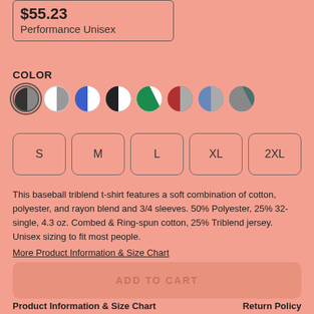$55.23
Performance Unisex
COLOR
[Figure (other): Color swatches: 8 circular swatches showing color options (black/grey diagonal, white/grey, blue/white diagonal, black/white diagonal, green/white diagonal, red/grey diagonal, blue/grey diagonal, grey/teal diagonal). First swatch is selected with a ring.]
S
M
L
XL
2XL
This baseball triblend t-shirt features a soft combination of cotton, polyester, and rayon blend and 3/4 sleeves. 50% Polyester, 25% 32-single, 4.3 oz. Combed & Ring-spun cotton, 25% Triblend jersey. Unisex sizing to fit most people.
More Product Information & Size Chart
ADD TO CART
Product Information & Size Chart    Return Policy